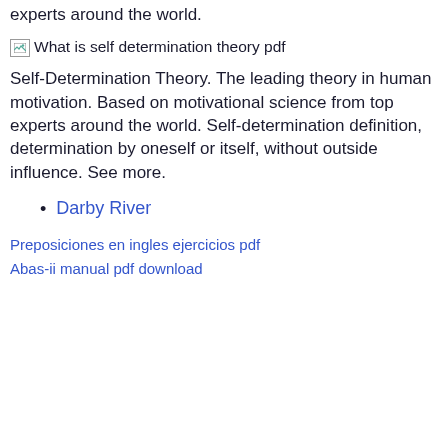experts around the world.
[Figure (other): Broken image placeholder labeled 'What is self determination theory pdf']
Self-Determination Theory. The leading theory in human motivation. Based on motivational science from top experts around the world. Self-determination definition, determination by oneself or itself, without outside influence. See more.
Darby River
Preposiciones en ingles ejercicios pdf
Abas-ii manual pdf download